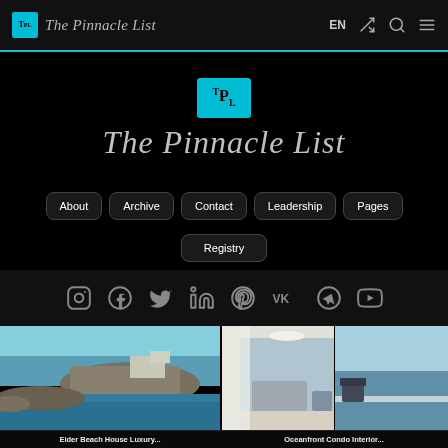The Pinnacle List — EN navigation bar with search and menu icons
[Figure (logo): The Pinnacle List logo: TPL teal badge and italic script brand name]
About
Archive
Contact
Leadership
Pages
Registry
[Figure (infographic): Social media icons row: Instagram, Facebook, Twitter/X, LinkedIn, Pinterest, VK, Telegram, YouTube]
[Figure (photo): Aerial view of Eider Beach House on rocky coastline with turquoise sea]
[Figure (photo): Interior of oceanfront condo showing modern living space with sea view]
Eider Beach House Luxury...
Oceanfront Condo Interior...